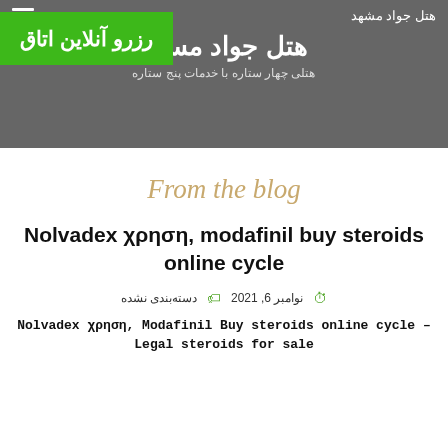هتل جواد مشهد
رزرو آنلاین اتاق
هتل جواد مسهد
هتلی چهار ستاره با خدمات پنج ستاره
From the blog
Nolvadex χρηση, modafinil buy steroids online cycle
نوامبر 6, 2021   دسته‌بندی نشده
Nolvadex χρηση, Modafinil Buy steroids online cycle – Legal steroids for sale